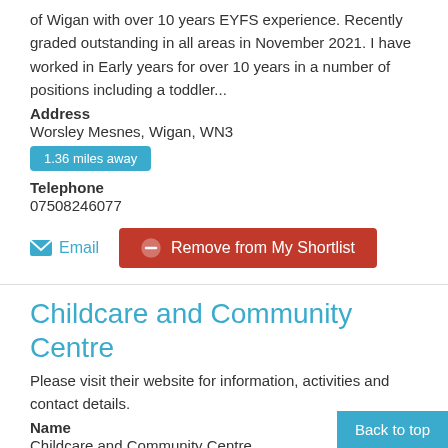of Wigan with over 10 years EYFS experience. Recently graded outstanding in all areas in November 2021. I have worked in Early years for over 10 years in a number of positions including a toddler...
Address
Worsley Mesnes, Wigan, WN3
1.36 miles away
Telephone
07508246077
Email
Remove from My Shortlist
Childcare and Community Centre
Please visit their website for information, activities and contact details.
Name
Childcare and Community Centre
Address
Hilton Street, Ashton-in-makerfield, Wigan, WN4 8PD
3.93 miles away
Back to top